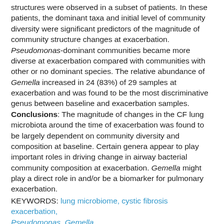structures were observed in a subset of patients. In these patients, the dominant taxa and initial level of community diversity were significant predictors of the magnitude of community structure changes at exacerbation. Pseudomonas-dominant communities became more diverse at exacerbation compared with communities with other or no dominant species. The relative abundance of Gemella increased in 24 (83%) of 29 samples at exacerbation and was found to be the most discriminative genus between baseline and exacerbation samples. Conclusions: The magnitude of changes in the CF lung microbiota around the time of exacerbation was found to be largely dependent on community diversity and composition at baseline. Certain genera appear to play important roles in driving change in airway bacterial community composition at exacerbation. Gemella might play a direct role in and/or be a biomarker for pulmonary exacerbation.
KEYWORDS: lung microbiome, cystic fibrosis exacerbation, Pseudomonas, Gemella
*These authors contributed equally to this work. Correspondence and requests for reprints should be addressed to John J. LiPuma, M.D., Division of Pediatrics,